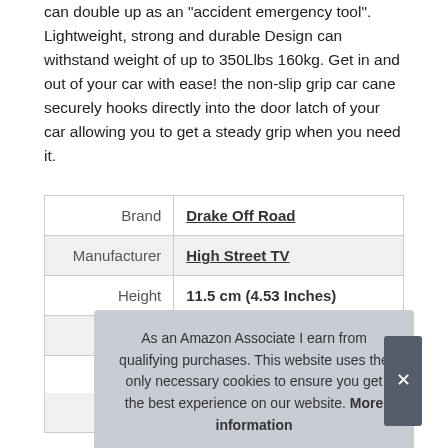can double up as an "accident emergency tool". Lightweight, strong and durable Design can withstand weight of up to 350Llbs 160kg. Get in and out of your car with ease! the non-slip grip car cane securely hooks directly into the door latch of your car allowing you to get a steady grip when you need it.
|  |  |
| --- | --- |
| Brand | Drake Off Road |
| Manufacturer | High Street TV |
| Height | 11.5 cm (4.53 Inches) |
| Length | 19 cm (7.48 Inches) |
| Weight | 0.2 kg (0.44 Pounds) |
| P |  |
As an Amazon Associate I earn from qualifying purchases. This website uses the only necessary cookies to ensure you get the best experience on our website. More information